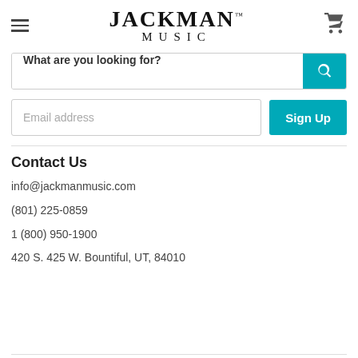[Figure (logo): Jackman Music logo with hamburger menu icon on left and shopping cart icon on right]
What are you looking for?
Email address
Contact Us
info@jackmanmusic.com
(801) 225-0859
1 (800) 950-1900
420 S. 425 W. Bountiful, UT, 84010